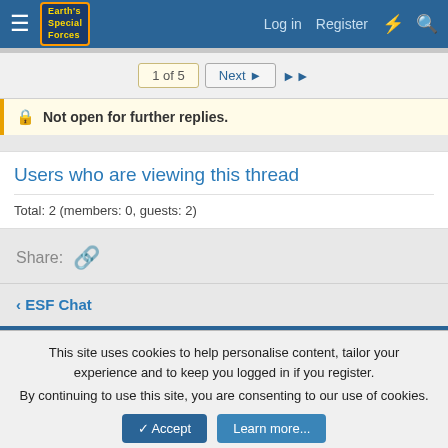Log in  Register
1 of 5  Next ▶  ▶▶
🔒 Not open for further replies.
Users who are viewing this thread
Total: 2 (members: 0, guests: 2)
Share: 🔗
< ESF Chat
This site uses cookies to help personalise content, tailor your experience and to keep you logged in if you register.
By continuing to use this site, you are consenting to our use of cookies.
✔ Accept   Learn more...